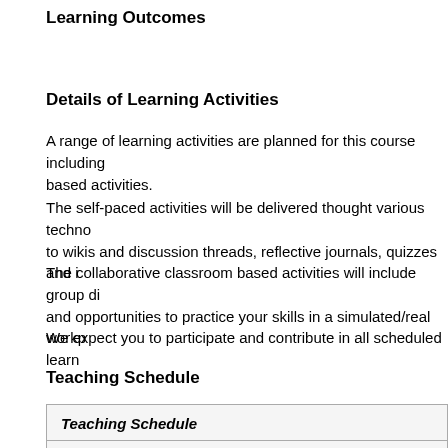Learning Outcomes
Details of Learning Activities
A range of learning activities are planned for this course including based activities.
The self-paced activities will be delivered thought various techno to wikis and discussion threads, reflective journals, quizzes and i
The collaborative classroom based activities will include group di and opportunities to practice your skills in a simulated/real workp
We expect you to participate and contribute in all scheduled learn
Teaching Schedule
| Teaching Schedule |
| --- |
| This unit will be co delivered and co assessed. It is a cluster of two units |